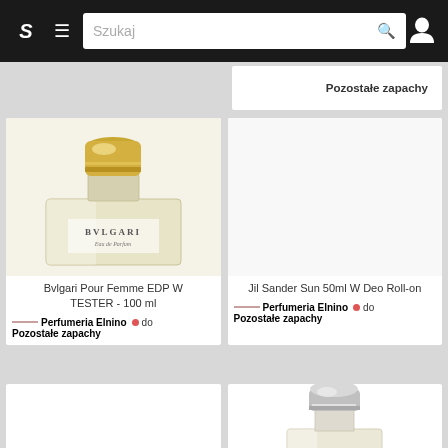S  ≡  Szukaj 🔍  👤
Pozostałe zapachy
[Figure (photo): Bvlgari Pour Femme Eau de Parfum perfume bottle with gold cap on pale yellow background]
Bvlgari Pour Femme EDP W TESTER - 100 ml
Perfumeria Elnino  do
Pozostałe zapachy
[Figure (photo): Empty white product card area for Jil Sander product]
Jil Sander Sun 50ml W Deo Roll-on
Perfumeria Elnino  do
Pozostałe zapachy
[Figure (photo): Empty white product card (bottom left)]
[Figure (photo): Silver-capped perfume bottle, partially visible at bottom right]